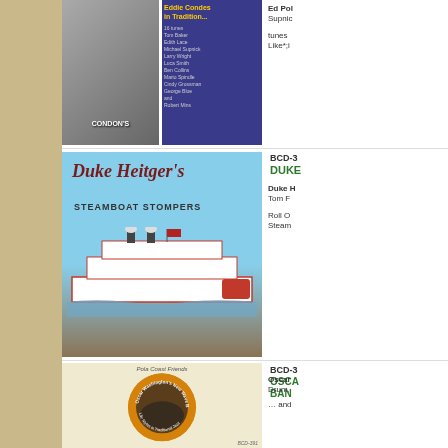[Figure (photo): Album cover for a jazz festival recording featuring Condon's venue on the left and a blue cover with performer credits on the right]
Ed Pol Supnic
tunes Like*;i
BCD-3
[Figure (photo): Duke Heitger's Steamboat Stompers album cover featuring a large steamboat on a river]
DUKE
Duke H Tom F
Roll O Steam
BCD-3
[Figure (photo): Oscar Washington's New Wave Brass Band album cover with circular photo of band members in white uniforms]
OSCA BAN
Oscar Drum,
… and